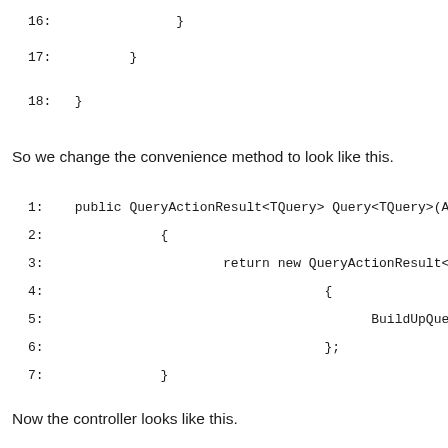16:                }
17:          }
18:   }
So we change the convenience method to look like this.
1:    public QueryActionResult<TQuery> Query<TQuery>(Ac
2:               {
3:                       return new QueryActionResult<TQuery>
4:                                    {
5:                                          BuildUpQuery = buildUpQu
6:                                    };
7:               }
Now the controller looks like this.